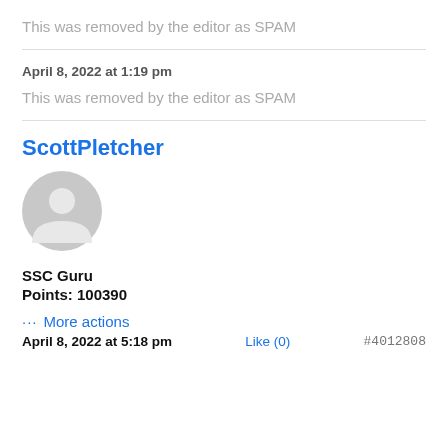This was removed by the editor as SPAM
April 8, 2022 at 1:19 pm
This was removed by the editor as SPAM
ScottPletcher
[Figure (illustration): Generic grey user avatar icon]
SSC Guru
Points: 100390
••• More actions
April 8, 2022 at 5:18 pm   Like (0)   #4012808